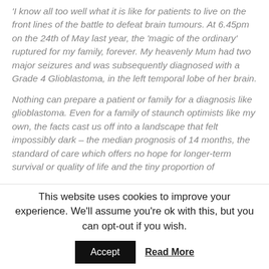'I know all too well what it is like for patients to live on the front lines of the battle to defeat brain tumours. At 6.45pm on the 24th of May last year, the 'magic of the ordinary' ruptured for my family, forever. My heavenly Mum had two major seizures and was subsequently diagnosed with a Grade 4 Glioblastoma, in the left temporal lobe of her brain.
Nothing can prepare a patient or family for a diagnosis like glioblastoma. Even for a family of staunch optimists like my own, the facts cast us off into a landscape that felt impossibly dark – the median prognosis of 14 months, the standard of care which offers no hope for longer-term survival or quality of life and the tiny proportion of
This website uses cookies to improve your experience. We'll assume you're ok with this, but you can opt-out if you wish.
Accept
Read More